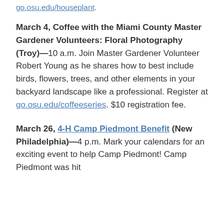go.osu.edu/houseplant.
March 4, Coffee with the Miami County Master Gardener Volunteers: Floral Photography (Troy)—10 a.m. Join Master Gardener Volunteer Robert Young as he shares how to best include birds, flowers, trees, and other elements in your backyard landscape like a professional. Register at go.osu.edu/coffeeseries. $10 registration fee.
March 26, 4-H Camp Piedmont Benefit (New Philadelphia)—4 p.m. Mark your calendars for an exciting event to help Camp Piedmont! Camp Piedmont was hit